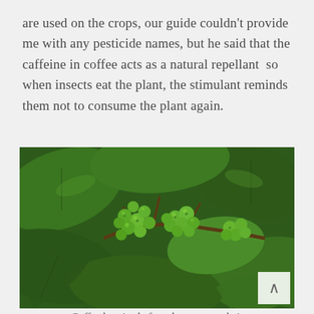are used on the crops, our guide couldn't provide me with any pesticide names, but he said that the caffeine in coffee acts as a natural repellant so when insects eat the plant, the stimulant reminds them not to consume the plant again.
[Figure (photo): A photograph of green coffee berries/cherries on a coffee plant branch, surrounded by large dark green leaves. The berries are small, round, and bright green, clustered together on the branch. A small scroll-to-top button with a caret (^) icon appears in the lower right corner of the image.]
Coffee berries before they turn to their